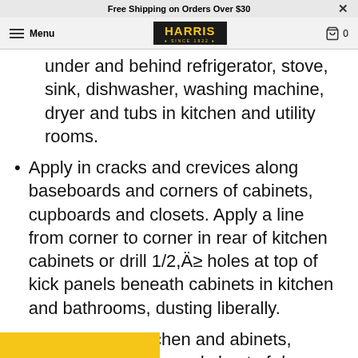Free Shipping on Orders Over $30
HARRIS Since 1922 — Menu — Cart 0
under and behind refrigerator, stove, sink, dishwasher, washing machine, dryer and tubs in kitchen and utility rooms.
Apply in cracks and crevices along baseboards and corners of cabinets, cupboards and closets. Apply a line from corner to corner in rear of kitchen cabinets or drill 1/2,Ä≥ holes at top of kick panels beneath cabinets in kitchen and bathrooms, dusting liberally.
er drawers in kitchen and abinets, bedroom dressers and chest of drawers and liberally dust